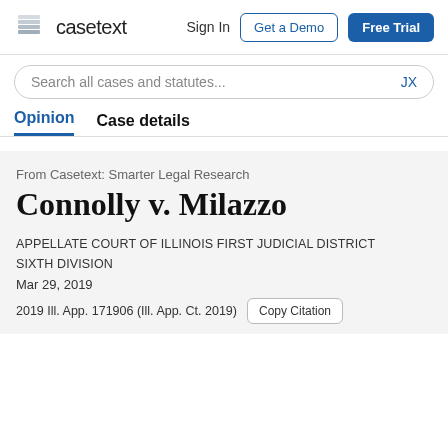casetext  Sign In  Get a Demo  Free Trial
Search all cases and statutes...  JX
Opinion  Case details
From Casetext: Smarter Legal Research
Connolly v. Milazzo
APPELLATE COURT OF ILLINOIS FIRST JUDICIAL DISTRICT
SIXTH DIVISION
Mar 29, 2019
2019 Ill. App. 171906 (Ill. App. Ct. 2019)  Copy Citation